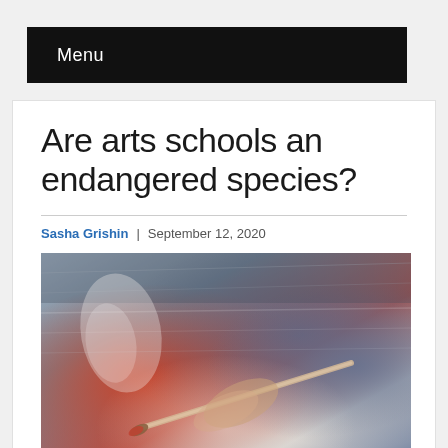Menu
Are arts schools an endangered species?
Sasha Grishin | September 12, 2020
[Figure (photo): Close-up of a hand holding a paintbrush applying red and white paint on a textured canvas, with a blurred person in the background wearing a blue shirt.]